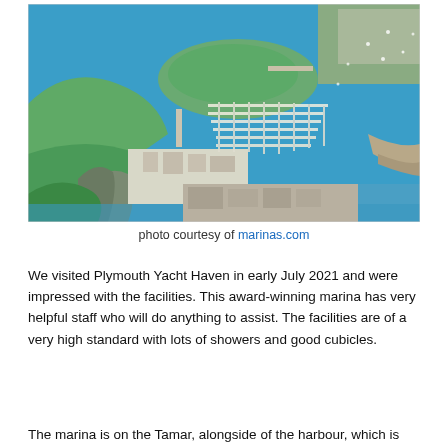[Figure (photo): Aerial photograph of Plymouth Yacht Haven marina showing boats moored in a large marina, surrounding green landscape, waterways, and town in the background.]
photo courtesy of marinas.com
We visited Plymouth Yacht Haven in early July 2021 and were impressed with the facilities. This award-winning marina has very helpful staff who will do anything to assist. The facilities are of a very high standard with lots of showers and good cubicles.
The marina is on the Tamar, alongside of the harbour, which is...